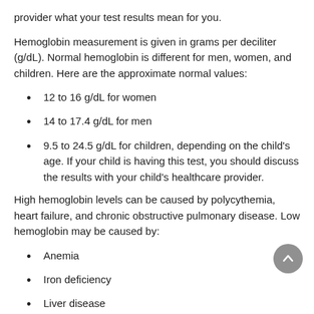provider what your test results mean for you.
Hemoglobin measurement is given in grams per deciliter (g/dL). Normal hemoglobin is different for men, women, and children. Here are the approximate normal values:
12 to 16 g/dL for women
14 to 17.4 g/dL for men
9.5 to 24.5 g/dL for children, depending on the child's age. If your child is having this test, you should discuss the results with your child's healthcare provider.
High hemoglobin levels can be caused by polycythemia, heart failure, and chronic obstructive pulmonary disease. Low hemoglobin may be caused by:
Anemia
Iron deficiency
Liver disease